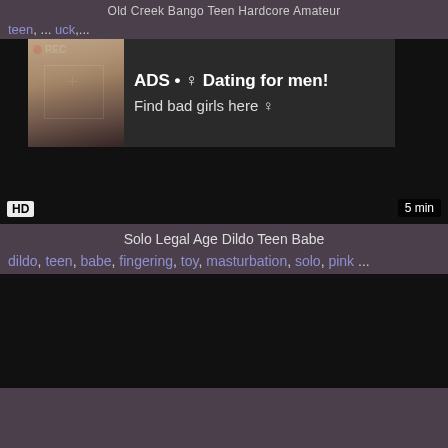Old Creek Bango Teen Hardcore Amateur
teen, ... uck,...
[Figure (screenshot): Video player area with an advertisement overlay. The ad shows a photo of a woman taking a selfie in a mirror, with a REC badge in the top-left corner and a focus box overlay. The ad text reads: ADS • ♀ Dating for men! Find bad girls here ♀. Below the ad the video player is dark/black. HD badge bottom-left, 5 min badge bottom-right.]
Solo Legal Age Dildo Teen Babe
dildo, teen, babe, fingering, toy, masturbation, solo, pink ...
[Figure (screenshot): Dark/black video thumbnail area at bottom of page.]